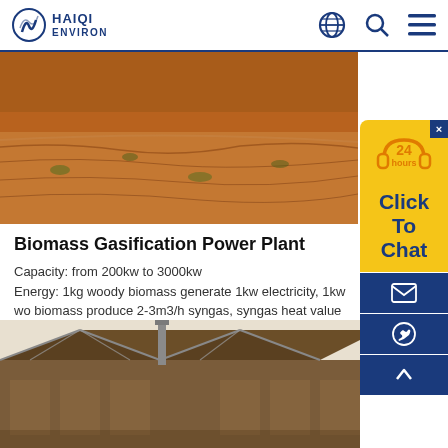HAIQI ENVIRON
[Figure (photo): Aerial or ground-level photo of arid reddish-brown terrain with sparse vegetation]
Biomass Gasification Power Plant
Capacity: from 200kw to 3000kw
Energy: 1kg woody biomass generate 1kw electricity, 1kw wo biomass produce 2-3m3/h syngas, syngas heat value 1100-1500kcal/m3.
Views More
[Figure (photo): Photo of an industrial building with angular roofline and a vertical pipe or chimney]